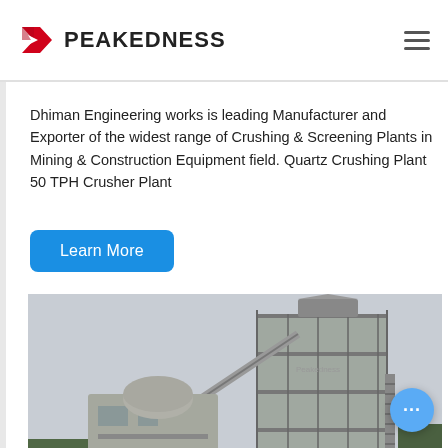PEAKEDNESS
Dhiman Engineering works is leading Manufacturer and Exporter of the widest range of Crushing & Screening Plants in Mining & Construction Equipment field. Quartz Crushing Plant 50 TPH Crusher Plant
Learn More
[Figure (photo): Industrial asphalt or concrete mixing plant with large tower structure, conveyor belts, silos, and auxiliary buildings photographed outdoors.]